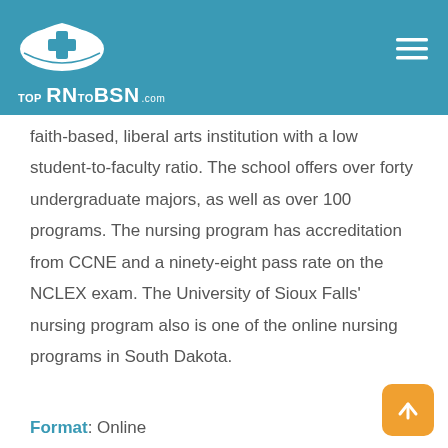TOP RN TO BSN .com
faith-based, liberal arts institution with a low student-to-faculty ratio. The school offers over forty undergraduate majors, as well as over 100 programs. The nursing program has accreditation from CCNE and a ninety-eight pass rate on the NCLEX exam. The University of Sioux Falls' nursing program also is one of the online nursing programs in South Dakota.
Format: Online